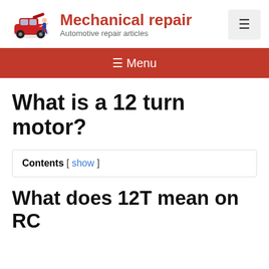Mechanical repair — Automotive repair articles
[Figure (illustration): Red car with hood open and mechanic working on it, cartoon style logo]
≡ Menu (hamburger button in header)
≡ Menu (navigation bar)
What is a 12 turn motor?
Contents [ show ]
What does 12T mean on RC